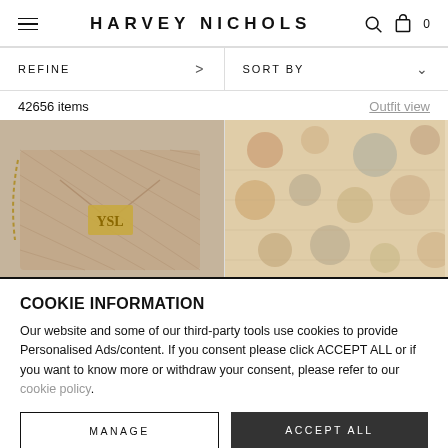HARVEY NICHOLS
REFINE > SORT BY ∨
42656 items    Outfit view
[Figure (photo): Two product images: left shows a taupe quilted YSL crossbody bag with gold hardware; right shows a colorful printed dress.]
COOKIE INFORMATION
Our website and some of our third-party tools use cookies to provide Personalised Ads/content. If you consent please click ACCEPT ALL or if you want to know more or withdraw your consent, please refer to our cookie policy.
MANAGE    ACCEPT ALL